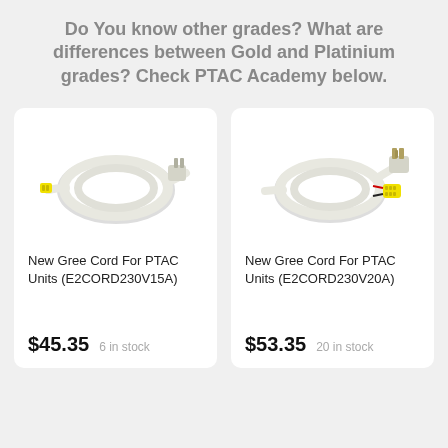Do You know other grades? What are differences between Gold and Platinium grades? Check PTAC Academy below.
[Figure (photo): White coiled power cord with yellow connector for PTAC unit, model E2CORD230V15A]
New Gree Cord For PTAC Units (E2CORD230V15A)
$45.35    6 in stock
[Figure (photo): White coiled power cord with yellow multi-pin connector for PTAC unit, model E2CORD230V20A]
New Gree Cord For PTAC Units (E2CORD230V20A)
$53.35    20 in stock